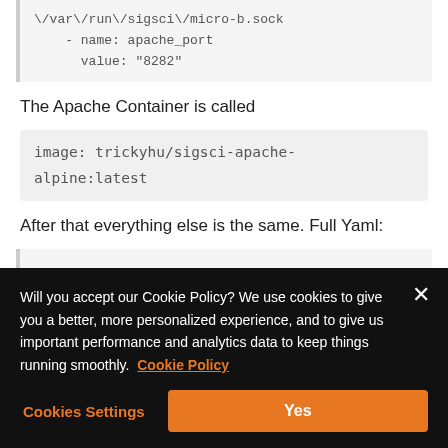/var/run/sigsci/micro-b.sock
    - name: apache_port
      value: "8282"
The Apache Container is called
image: trickyhu/sigsci-apache-alpine:latest
After that everything else is the same. Full Yaml:
(cookie banner) Will you accept our Cookie Policy? We use cookies to give you a better, more personalized experience, and to give us important performance and analytics data to keep things running smoothly. Cookie Policy
Cookies Settings | Yes